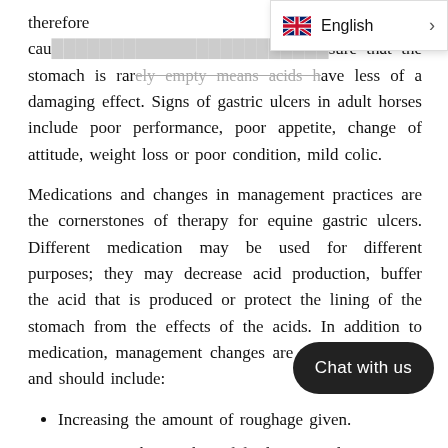therefore cause [covered] sure that the stomach is rarely empty means acids have less of a damaging effect. Signs of gastric ulcers in adult horses include poor performance, poor appetite, change of attitude, weight loss or poor condition, mild colic.
Medications and changes in management practices are the cornerstones of therapy for equine gastric ulcers. Different medication may be used for different purposes; they may decrease acid production, buffer the acid that is produced or protect the lining of the stomach from the effects of the acids. In addition to medication, management changes are always necessary and should include:
Increasing the amount of roughage given.
Increasing the number of feedings per day.
Putting horses out to graze [covered] best alternative or as much as pos[covered]
Avoiding or decreasing the amount of hard feed.